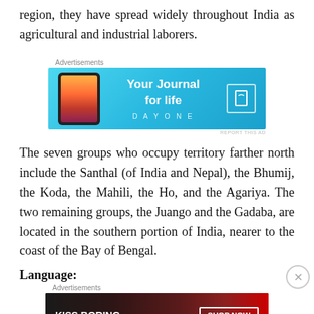region, they have spread widely throughout India as agricultural and industrial laborers.
[Figure (other): Advertisement banner for Day One journal app with cyan/blue background showing phone and text 'Your Journal for life']
The seven groups who occupy territory farther north include the Santhal (of India and Nepal), the Bhumij, the Koda, the Mahili, the Ho, and the Agariya. The two remaining groups, the Juango and the Gadaba, are located in the southern portion of India, nearer to the coast of the Bay of Bengal.
Language:
[Figure (other): Advertisement banner for Macy's lipstick promotion with text 'KISS BORING LIPS GOODBYE' and 'SHOP NOW' button]